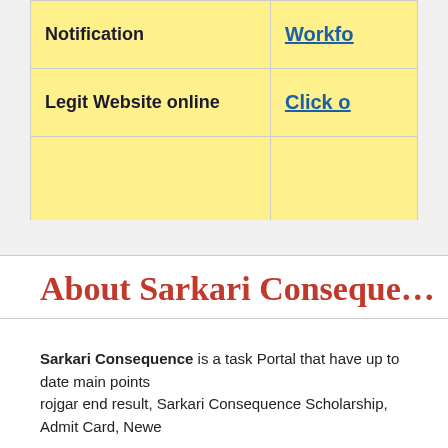|  |  |
| --- | --- |
| Notification | Workfo… |
| Legit Website online | Click o… |
|  |  |
About Sarkari Conseque…
Sarkari Consequence is a task Portal that have up to date main points of rojgar end result, Sarkari Consequence Scholarship, Admit Card, Newe…
Sarkari Consequence printed details about front checks like as SSC C…